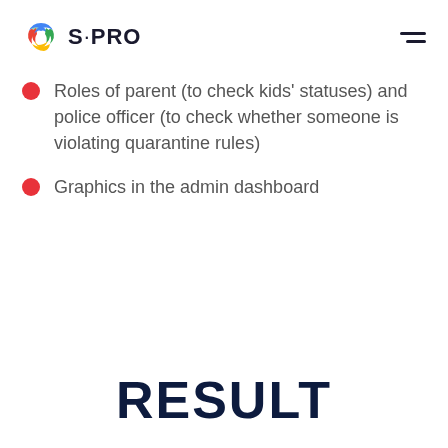S·PRO
Roles of parent (to check kids' statuses) and police officer (to check whether someone is violating quarantine rules)
Graphics in the admin dashboard
RESULT